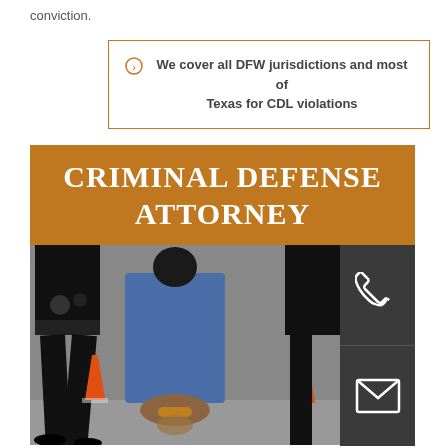conviction.
We cover all DFW jurisdictions and most of Texas for CDL violations
[Figure (photo): Criminal Defense Attorney banner with photo of person in handcuffs being arrested by police officer, with phone and email contact icons on the right side]